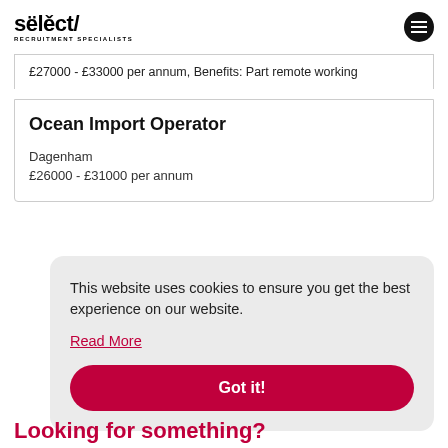sëlëct/ RECRUITMENT SPECIALISTS
£27000 - £33000 per annum, Benefits: Part remote working
Ocean Import Operator
Dagenham
£26000 - £31000 per annum
This website uses cookies to ensure you get the best experience on our website.
Read More
Got it!
Looking for something?